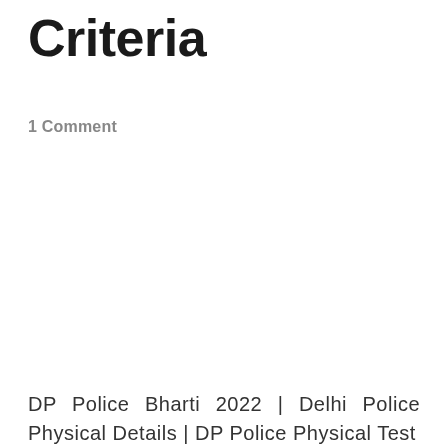Criteria
1 Comment
DP Police Bharti 2022 | Delhi Police Physical Details | DP Police Physical Test